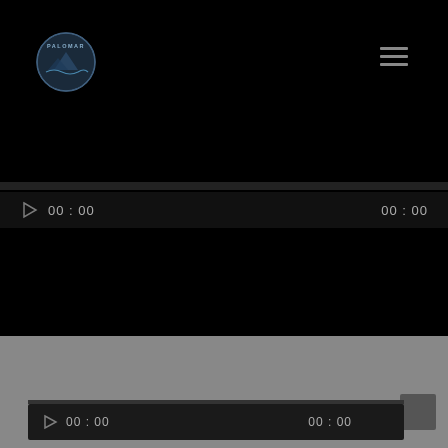[Figure (screenshot): Palomar website screenshot showing a dark-themed media player interface with a circular Palomar logo in the top left, a hamburger menu icon in the top right, a video/audio player area with a seek bar, play button and time display showing 00:00 on both left and right sides. The bottom portion transitions to a gray background with a secondary media player bar also showing play button and 00:00 timestamps.]